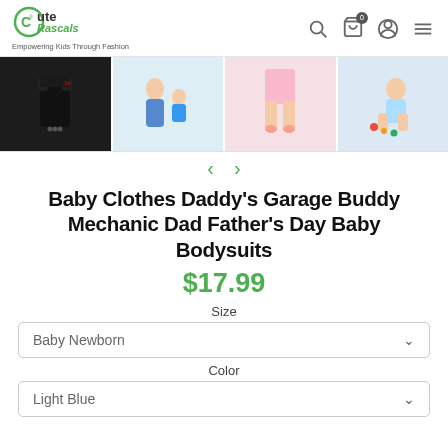Cute Rascals — Empowering Kids Through Fashion
[Figure (photo): Four thumbnail images: black baby bodysuit, mother with baby in blue shirt, baby in pink bodysuit showing legs, baby sitting on floor with toys]
Baby Clothes Daddy's Garage Buddy Mechanic Dad Father's Day Baby Bodysuits
$17.99
Size
Baby Newborn
Color
Light Blue